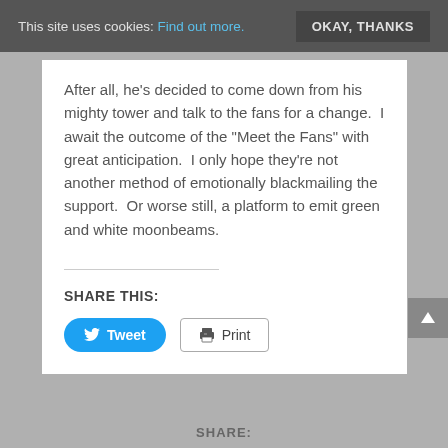This site uses cookies: Find out more.  OKAY, THANKS
After all, he’s decided to come down from his mighty tower and talk to the fans for a change.  I await the outcome of the “Meet the Fans” with great anticipation.  I only hope they’re not another method of emotionally blackmailing the support.  Or worse still, a platform to emit green and white moonbeams.
SHARE THIS:
Tweet
Print
SHARE: